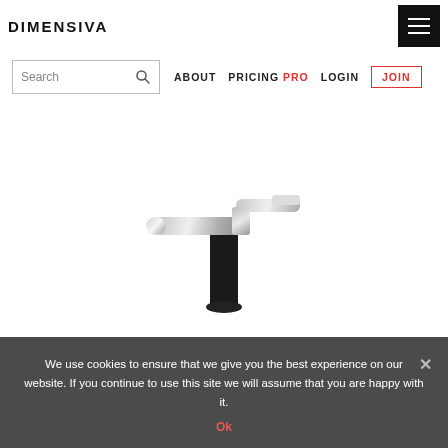DIMENSIVA
[Figure (screenshot): Navigation bar with search box, ABOUT, PRICING PRO, LOGIN, and JOIN button links]
[Figure (photo): Chrome kitchen/bathroom faucet with pull-out spout on a white background]
We use cookies to ensure that we give you the best experience on our website. If you continue to use this site we will assume that you are happy with it.
Ok